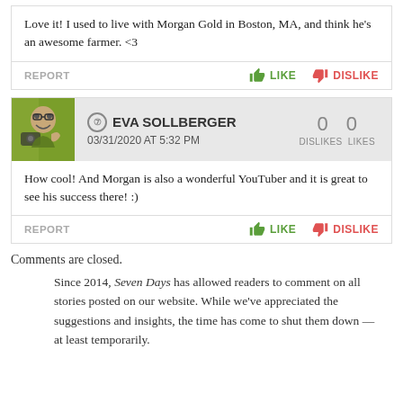Love it! I used to live with Morgan Gold in Boston, MA, and think he's an awesome farmer. <3
REPORT   👍 LIKE   👎 DISLIKE
⑦ EVA SOLLBERGER  03/31/2020 AT 5:32 PM  0 DISLIKES  0 LIKES
How cool! And Morgan is also a wonderful YouTuber and it is great to see his success there! :)
REPORT   👍 LIKE   👎 DISLIKE
Comments are closed.
Since 2014, Seven Days has allowed readers to comment on all stories posted on our website. While we've appreciated the suggestions and insights, the time has come to shut them down — at least temporarily.